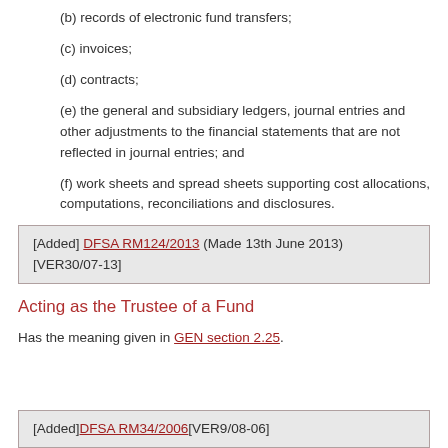(b) records of electronic fund transfers;
(c) invoices;
(d) contracts;
(e) the general and subsidiary ledgers, journal entries and other adjustments to the financial statements that are not reflected in journal entries; and
(f) work sheets and spread sheets supporting cost allocations, computations, reconciliations and disclosures.
[Added] DFSA RM124/2013 (Made 13th June 2013) [VER30/07-13]
Acting as the Trustee of a Fund
Has the meaning given in GEN section 2.25.
[Added]DFSA RM34/2006[VER9/08-06]